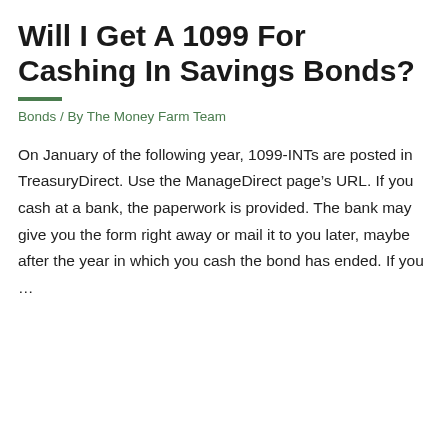Will I Get A 1099 For Cashing In Savings Bonds?
Bonds / By The Money Farm Team
On January of the following year, 1099-INTs are posted in TreasuryDirect. Use the ManageDirect page’s URL. If you cash at a bank, the paperwork is provided. The bank may give you the form right away or mail it to you later, maybe after the year in which you cash the bond has ended. If you …